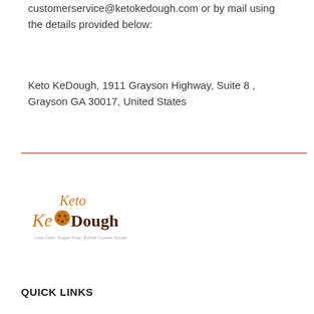customerservice@ketokedough.com or by mail using the details provided below:
Keto KeDough, 1911 Grayson Highway, Suite 8 , Grayson GA 30017, United States
[Figure (logo): Keto KeDough logo with tagline Low-Carb, Sugar-Free, Edible Cookie Dough]
QUICK LINKS